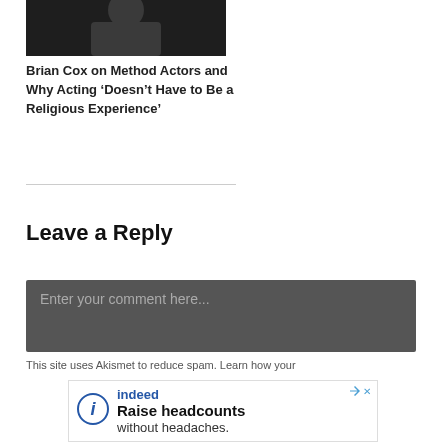[Figure (photo): Partial photo of a person in dark clothing, cropped at top]
Brian Cox on Method Actors and Why Acting ‘Doesn’t Have to Be a Religious Experience’
Leave a Reply
[Figure (screenshot): Dark gray comment input box with placeholder text: Enter your comment here...]
This site uses Akismet to reduce spam. Learn how your
[Figure (infographic): Indeed advertisement banner: Raise headcounts without headaches.]